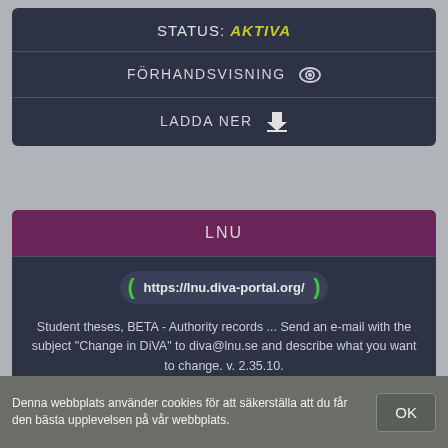STATUS: AKTIVA
FÖRHANDSVISNING
LADDA NER
LNU
https://lnu.diva-portal.org/
Student theses, BETA - Authority records ... Send an e-mail with the subject "Change in DiVA" to diva@lnu.se and describe what you want to change. v. 2.35.10.
STATUS: AKTIVA
FÖRHANDSVISNING
Denna webbplats använder cookies för att säkerställa att du får den bästa upplevelsen på vår webbplats.